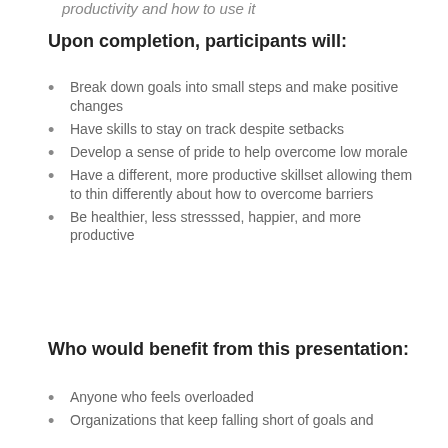productivity and how to use it
Upon completion, participants will:
Break down goals into small steps and make positive changes
Have skills to stay on track despite setbacks
Develop a sense of pride to help overcome low morale
Have a different, more productive skillset allowing them to thin differently about how to overcome barriers
Be healthier, less stresssed, happier, and more productive
Who would benefit from this presentation:
Anyone who feels overloaded
Organizations that keep falling short of goals and